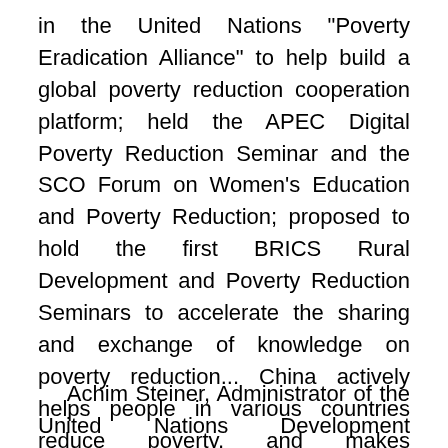in the United Nations "Poverty Eradication Alliance" to help build a global poverty reduction cooperation platform; held the APEC Digital Poverty Reduction Seminar and the SCO Forum on Women's Education and Poverty Reduction; proposed to hold the first BRICS Rural Development and Poverty Reduction Seminars to accelerate the sharing and exchange of knowledge on poverty reduction... China actively helps people in various countries reduce poverty, and makes development achievements better benefit people of all countries and the world
Achim Steiner, Administrator of the United Nations Development Program, said that China